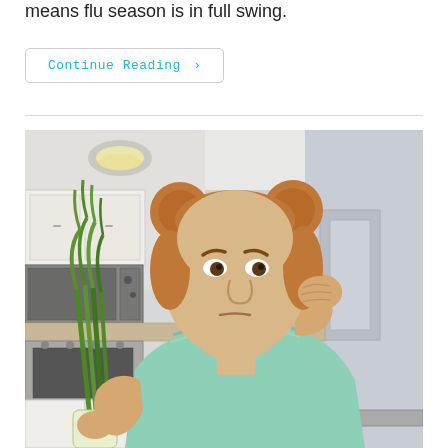means flu season is in full swing.
Continue Reading ›
[Figure (photo): A young woman with hair in two buns, wearing a mint green top, holding green onions in one hand and pinching her nose with the other hand, standing in a modern kitchen with white cabinets, stainless steel microwave, granite countertops, and a ceiling light fixture.]